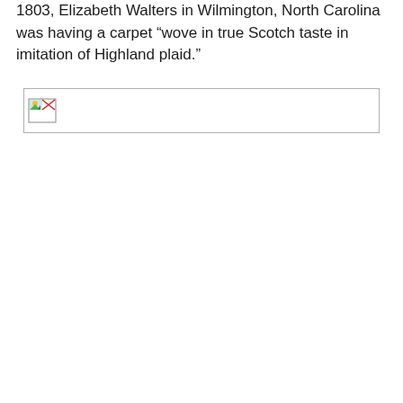1803, Elizabeth Walters in Wilmington, North Carolina was having a carpet “wove in true Scotch taste in imitation of Highland plaid.”
[Figure (other): Broken image placeholder — a small icon indicating a missing or unloaded image, with a thin rectangular border outline]